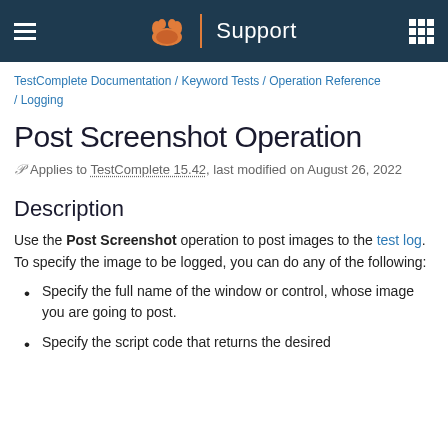Support
TestComplete Documentation / Keyword Tests / Operation Reference / Logging
Post Screenshot Operation
Applies to TestComplete 15.42, last modified on August 26, 2022
Description
Use the Post Screenshot operation to post images to the test log. To specify the image to be logged, you can do any of the following:
Specify the full name of the window or control, whose image you are going to post.
Specify the script code that returns the desired